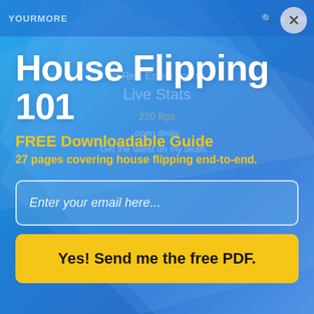YOURMORE  Menu
House Flipping 101
FREE Downloadable Guide
27 pages covering house flipping end-to-end.
Enter your email here...
Yes! Send me the free PDF.